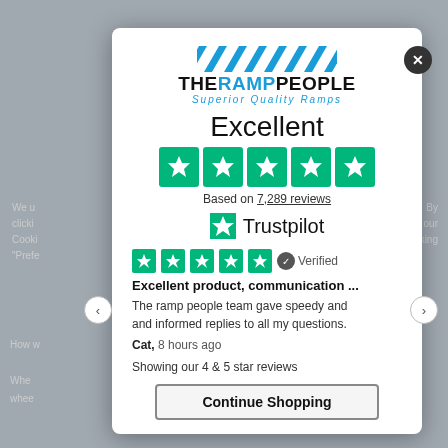[Figure (screenshot): The Ramp People logo with striped banner and tagline 'Superior Quality Ramps']
Excellent
[Figure (infographic): Five green Trustpilot star rating boxes]
Based on 7,289 reviews
[Figure (logo): Trustpilot logo with green star]
[Figure (infographic): Five small green star rating boxes with Verified badge]
Excellent product, communication ...
The ramp people team gave speedy and and informed replies to all my questions.
Cat, 8 hours ago
Showing our 4 & 5 star reviews
Continue Shopping